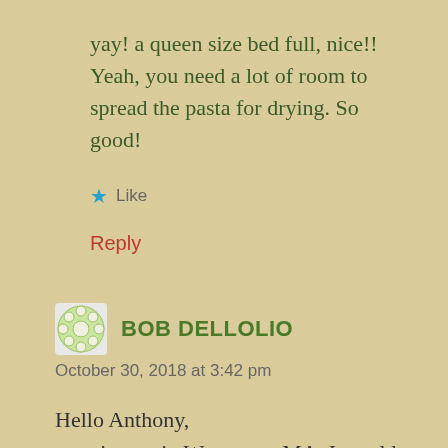yay! a queen size bed full, nice!! Yeah, you need a lot of room to spread the pasta for drying. So good!
★ Like
Reply
BOB DELLOLIO
October 30, 2018 at 3:42 pm
Hello Anthony,
growing up in Worcester, MA, I would watch my mother make soup and molanban on Mondays all year round. I've been making it myself for a